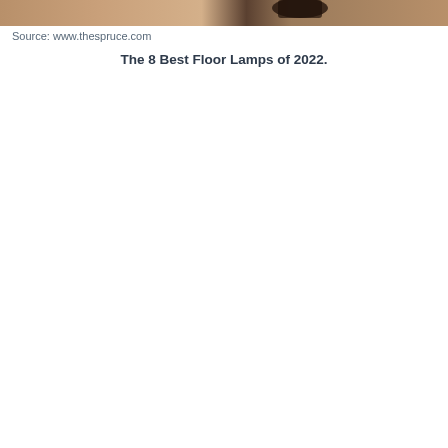[Figure (photo): Partial view of a floor lamp in a room setting, cropped at the top of the page. Warm tones with wooden floor visible.]
Source: www.thespruce.com
The 8 Best Floor Lamps of 2022.